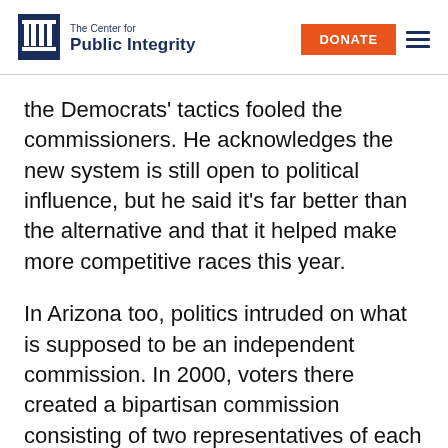The Center for Public Integrity | DONATE
the Democrats’ tactics fooled the commissioners. He acknowledges the new system is still open to political influence, but he said it’s far better than the alternative and that it helped make more competitive races this year.
In Arizona too, politics intruded on what is supposed to be an independent commission. In 2000, voters there created a bipartisan commission consisting of two representatives of each party and an independent chair. Last year, as the commission was drawing new lines, Republican Gov. Jan Brewer sought to impeach